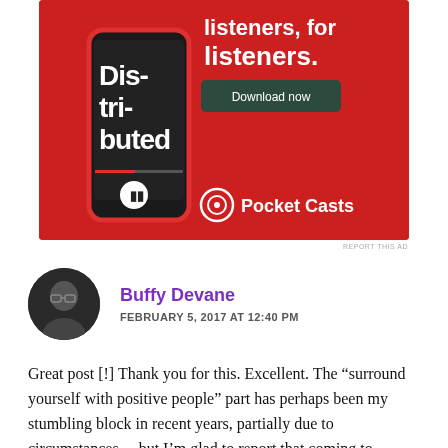[Figure (photo): Pocket Casts app advertisement on red background showing a phone with the app open, text 'Distributed' and 'listeners, for listeners.' with a Download now button and Pocket Casts logo]
REPORT THIS AD
Buffy Devane
FEBRUARY 5, 2017 AT 12:40 PM
Great post [!] Thank you for this. Excellent. The “surround yourself with positive people” part has perhaps been my stumbling block in recent years, partially due to circumstances... but I’m glad to report that coming to WordPress has begun to